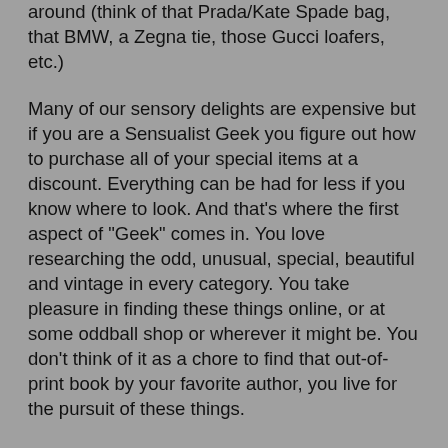around (think of that Prada/Kate Spade bag, that BMW, a Zegna tie, those Gucci loafers, etc.)
Many of our sensory delights are expensive but if you are a Sensualist Geek you figure out how to purchase all of your special items at a discount. Everything can be had for less if you know where to look. And that's where the first aspect of "Geek" comes in. You love researching the odd, unusual, special, beautiful and vintage in every category. You take pleasure in finding these things online, or at some oddball shop or wherever it might be. You don't think of it as a chore to find that out-of-print book by your favorite author, you live for the pursuit of these things.
The second aspect of Sensualist Geekery is the need to research and understand all of our favorite sensual pleasures to the Nth degree. How many of you reading this know far more than the average person about perfume, the notes/accords, the various esteemed noses, the history of the perfume houses? How many of you can recite the most obscure varieties of tea, can recite David Lynch films in scary detail, understand the difference between egygptian cotton and the finest silk, can talk about the subtleties between...